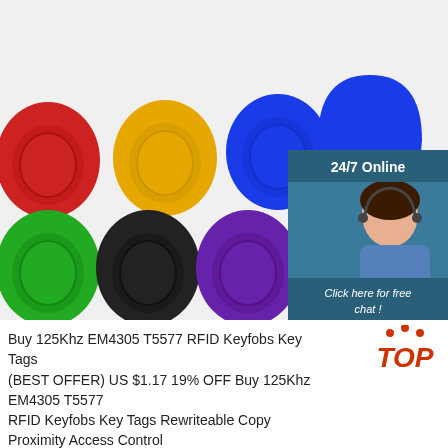[Figure (photo): Product photo showing 8 colorful RFID keyfobs (red, yellow, blue, blue, green, black, purple, grey, pink) with metal key rings, arranged in two rows. Overlay in top-right shows a customer service agent with headset and text '24/7 Online', 'Click here for free chat!', and an orange 'QUOTATION' button.]
Buy 125Khz EM4305 T5577 RFID Keyfobs Key Tags (BEST OFFER) US $1.17 19% OFF Buy 125Khz EM4305 T5577 RFID Keyfobs Key Tags Rewriteable Copy Proximity Access Control ID Card For RFID Copier From Vendor Shenzhen Lonhong...